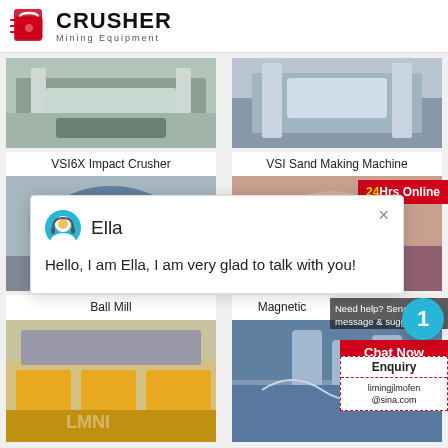[Figure (logo): Crusher Mining Equipment logo with red shopping bag icon and bold text]
[Figure (photo): VSI6X Impact Crusher machine photo]
VSI6X Impact Crusher
[Figure (photo): VSI Sand Making Machine photo]
VSI Sand Making Machine
[Figure (photo): Ball Mill machine photo]
Ball Mill
[Figure (photo): Magnetic separator machine photo (partially visible)]
Magnetic
[Figure (photo): Flotation machine (yellow) in factory]
[Figure (photo): Spiral classifier industrial equipment]
Hello, I am Ella, I am very glad to talk with you!
Ella
24Hrs Online
Need help? Send a message & suggestions
Chat Now
Enquiry
limingjlmofen@sina.com